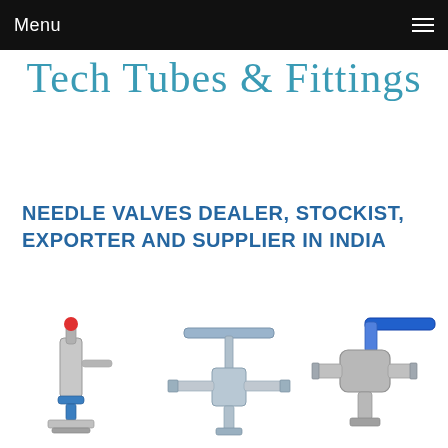Menu
Tech Tubes & Fittings
NEEDLE VALVES DEALER, STOCKIST, EXPORTER AND SUPPLIER IN INDIA
[Figure (photo): Three needle valves / industrial valve products shown: a stainless steel needle valve assembly with red cap and blue fittings on the left, a T-bar top needle valve in the center, and a lever-handled ball valve with blue handle on the right.]